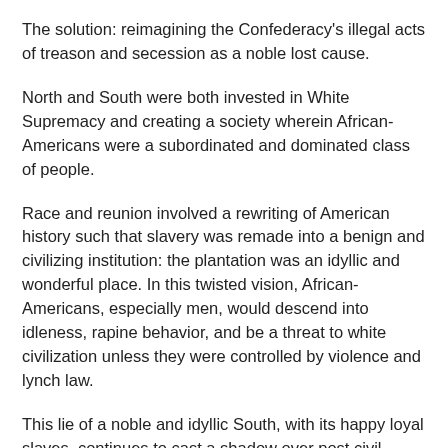The solution: reimagining the Confederacy's illegal acts of treason and secession as a noble lost cause.
North and South were both invested in White Supremacy and creating a society wherein African-Americans were a subordinated and dominated class of people.
Race and reunion involved a rewriting of American history such that slavery was remade into a benign and civilizing institution: the plantation was an idyllic and wonderful place. In this twisted vision, African-Americans, especially men, would descend into idleness, rapine behavior, and be a threat to white civilization unless they were controlled by violence and lynch law.
This lie of a noble and idyllic South, with its happy loyal slaves, continues to cast a shadow over post civil rights America.
For example, movies such as Gone with the Wind remain popular. Civil War reenactors march off as members of the Confederacy; they see themselves as good men involved in